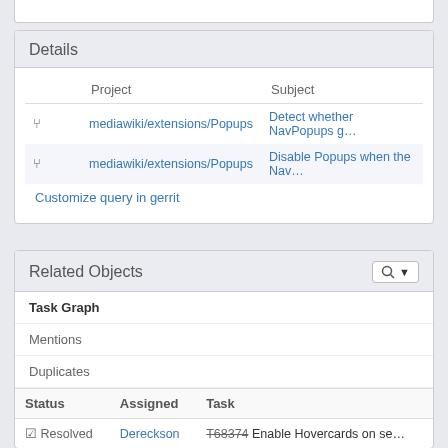Details
| Project | Subject |
| --- | --- |
| mediawiki/extensions/Popups | Detect whether NavPopups g… |
| mediawiki/extensions/Popups | Disable Popups when the Nav… |
Customize query in gerrit
Related Objects
Task Graph
Mentions
Duplicates
| Status | Assigned | Task |
| --- | --- | --- |
| ☑ Resolved | Dereckson | T68374 Enable Hovercards on se… |